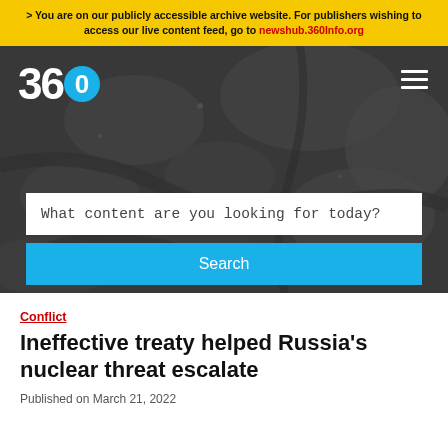> You are on our publicly accessible archive website. For publishers wishing to access our live content feed, go to newshub.360Info.org
[Figure (screenshot): 360info website hero section with dark aerial photograph background showing river/forest terrain. Includes 360 logo in white and blue, hamburger menu icon, search input box reading 'What content are you looking for today?', and a cyan Search button.]
Conflict
Ineffective treaty helped Russia's nuclear threat escalate
Published on March 21, 2022